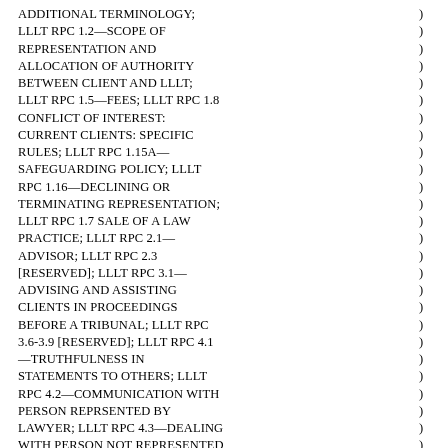ADDITIONAL TERMINOLOGY; LLLT RPC 1.2—SCOPE OF REPRESENTATION AND ALLOCATION OF AUTHORITY BETWEEN CLIENT AND LLLT; LLLT RPC 1.5—FEES; LLLT RPC 1.8 CONFLICT OF INTEREST: CURRENT CLIENTS: SPECIFIC RULES; LLLT RPC 1.15A—SAFEGUARDING POLICY; LLLT RPC 1.16—DECLINING OR TERMINATING REPRESENTATION; LLLT RPC 1.7 SALE OF A LAW PRACTICE; LLLT RPC 2.1—ADVISOR; LLLT RPC 2.3 [RESERVED]; LLLT RPC 3.1—ADVISING AND ASSISTING CLIENTS IN PROCEEDINGS BEFORE A TRIBUNAL; LLLT RPC 3.6-3.9 [RESERVED]; LLLT RPC 4.1—TRUTHFULNESS IN STATEMENTS TO OTHERS; LLLT RPC 4.2—COMMUNICATION WITH PERSON REPRSENTED BY LAWYER; LLLT RPC 4.3—DEALING WITH PERSON NOT REPRESENTED BY LAWYER; LLLT RPC 5.4—PROFESSIONAL INDPENDENCE OF A LLLT; LLLT RPC 5.5 UNAUTHORIZED PRACTICE OF LAW; LLLT RPC 8.1—LICENSING, ADMISSION, AND DISCIPLINARY MATTERS; LLLT RPC 8.4—MISCONDUCT
The Washington State Supreme Court Limited License Legal Technician Board recommended suggested amendments to APR 28—Limited Practice Rule for Limited License Legal Technicians. The amendments were considered by the Court on